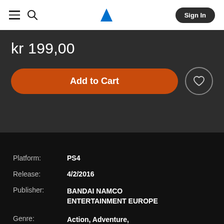PlayStation Store navigation bar with hamburger menu, search icon, PlayStation logo, and Sign In button
kr 199,00
Add to Cart
Platform: PS4
Release: 4/2/2016
Publisher: BANDAI NAMCO ENTERTAINMENT EUROPE
Genre: Action, Adventure, Fighting